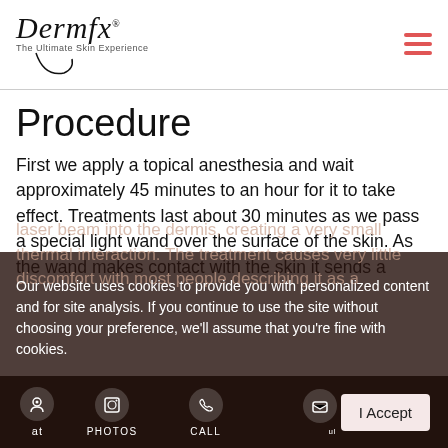Dermfx — The Ultimate Skin Experience
Procedure
First we apply a topical anesthesia and wait approximately 45 minutes to an hour for it to take effect. Treatments last about 30 minutes as we pass a special light wand over the surface of the skin. As the wand makes contact with the skin it sends a laser beam into the dermis, creating a very small thermal interaction. The treatment causes very little discomfort with most people describing it as a treatments spaced about 2 weeks apart. A side ent
Our website uses cookies to provide you with personalized content and for site analysis. If you continue to use the site without choosing your preference, we'll assume that you're fine with cookies.
PHOTOS   CALL   I Accept